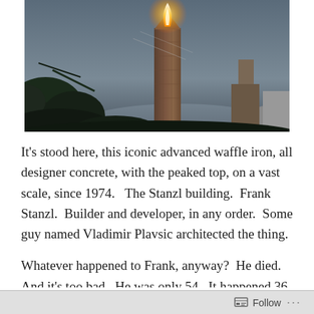[Figure (photo): Dusk or dawn photograph showing a tall concrete building with a lit beacon or flame at its peak, silhouetted against a blue-grey sky, with dark foliage in the foreground and a warm glowing light at the structure's top.]
It's stood here, this iconic advanced waffle iron, all designer concrete, with the peaked top, on a vast scale, since 1974.   The Stanzl building.  Frank Stanzl.  Builder and developer, in any order.  Some guy named Vladimir Plavsic architected the thing.
Whatever happened to Frank, anyway?  He died.  And it's too bad.  He was only 54.  It happened 36 years ago.  I always thought that
Follow